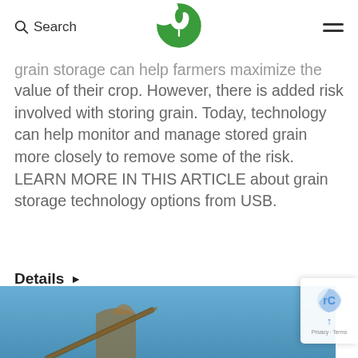Search [logo] [menu]
grain storage can help farmers maximize the value of their crop. However, there is added risk involved with storing grain. Today, technology can help monitor and manage stored grain more closely to remove some of the risk. LEARN MORE IN THIS ARTICLE about grain storage technology options from USB.
Details ▶
[Figure (photo): Photograph of grain storage equipment/silo against a blue sky background, partially visible at bottom of page.]